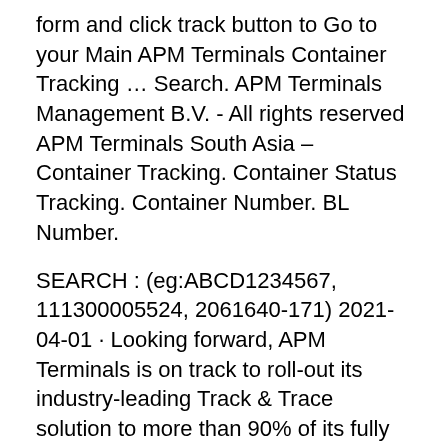form and click track button to Go to your Main APM Terminals Container Tracking … Search. APM Terminals Management B.V. - All rights reserved APM Terminals South Asia – Container Tracking. Container Status Tracking. Container Number. BL Number.
SEARCH : (eg:ABCD1234567, 111300005524, 2061640-171) 2021-04-01 · Looking forward, APM Terminals is on track to roll-out its industry-leading Track & Trace solution to more than 90% of its fully owned terminals by the end of 2021. Source: APM Terminals 2021-04-01 container: bl no. igm item: line: vessel name: location: cycle: size: cargo type: gate in: gate out: status: scanning status: hold status: delivery mode: terminal APM Terminals reports that it completed the roll-out of its digital